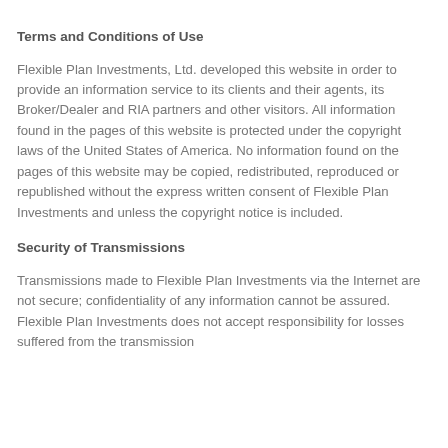Terms and Conditions of Use
Flexible Plan Investments, Ltd. developed this website in order to provide an information service to its clients and their agents, its Broker/Dealer and RIA partners and other visitors. All information found in the pages of this website is protected under the copyright laws of the United States of America. No information found on the pages of this website may be copied, redistributed, reproduced or republished without the express written consent of Flexible Plan Investments and unless the copyright notice is included.
Security of Transmissions
Transmissions made to Flexible Plan Investments via the Internet are not secure; confidentiality of any information cannot be assured. Flexible Plan Investments does not accept responsibility for losses suffered from the transmission...